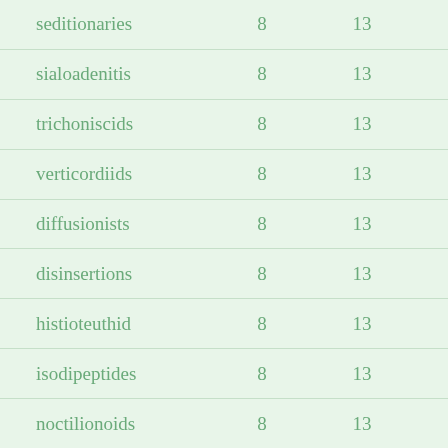| seditionaries | 8 | 13 |
| sialoadenitis | 8 | 13 |
| trichoniscids | 8 | 13 |
| verticordiids | 8 | 13 |
| diffusionists | 8 | 13 |
| disinsertions | 8 | 13 |
| histioteuthid | 8 | 13 |
| isodipeptides | 8 | 13 |
| noctilionoids | 8 | 13 |